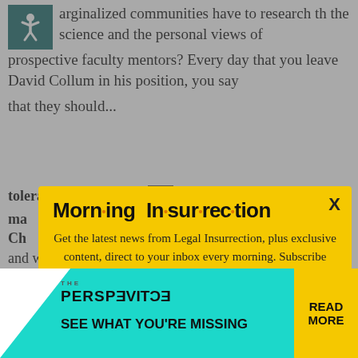arginalized communities have to research th the science and the personal views of prospective faculty mentors? Every day that you leave David Collum in his position, you say that they should...
[Figure (infographic): Morning Insurrection newsletter popup modal with yellow background, headline 'Morn·ing In·sur·rec·tion', subtitle 'Get the latest news from Legal Insurrection, plus exclusive content, direct to your inbox every morning. Subscribe today – it's free!', and an orange JOIN NOW button. An X close button is in the upper right.]
tolerating Collum, you're decreasing the ma...
Ch... and will continue to lead people to self-select...
[Figure (infographic): The Perspective advertisement banner at the bottom: white wing shape on left, teal/cyan background, text 'THE PERSPECTIVE' and 'SEE WHAT YOU'RE MISSING', yellow READ MORE box on right.]